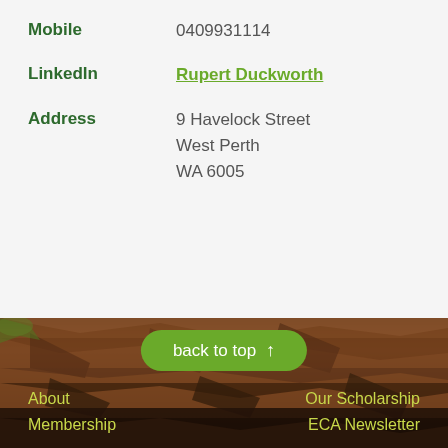Mobile: 0409931114
LinkedIn: Rupert Duckworth
Address: 9 Havelock Street, West Perth, WA 6005
[Figure (photo): Rocky/stone landscape background image with reddish-brown rocks and some vegetation]
back to top ↑
About
Our Scholarship
Membership
ECA Newsletter